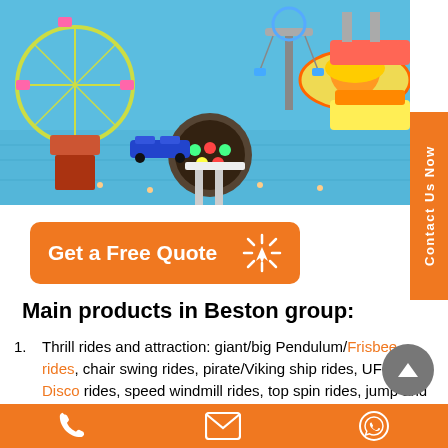[Figure (photo): Aerial view of an amusement park with various rides including Ferris wheel, carousel, spinning rides, and other attractions on a blue ground surface.]
[Figure (infographic): Orange 'Get a Free Quote' button with cursor/click icon]
Main products in Beston group:
Thrill rides and attraction: giant/big Pendulum/Frisbee rides, chair swing rides, pirate/Viking ship rides, UFO Disco rides, speed windmill rides, top spin rides, jump and smile rides, surfer up rides, rockin' tug rides, frog hopper rides, Ferris ring car rides, roller coaster;
Spinning rides for kids: carousel rides, bumper cars, swing
[Figure (infographic): Bottom orange bar with phone, email, and WhatsApp icons]